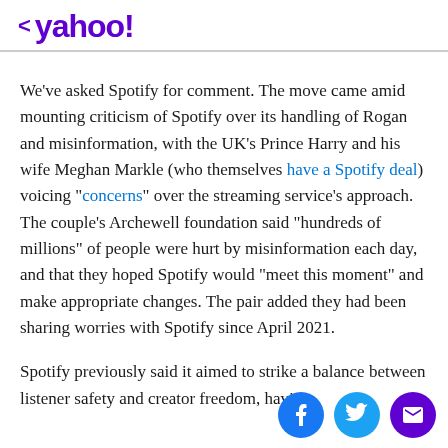< yahoo!
We've asked Spotify for comment. The move came amid mounting criticism of Spotify over its handling of Rogan and misinformation, with the UK's Prince Harry and his wife Meghan Markle (who themselves have a Spotify deal) voicing "concerns" over the streaming service's approach. The couple's Archewell foundation said "hundreds of millions" of people were hurt by misinformation each day, and that they hoped Spotify would "meet this moment" and make appropriate changes. The pair added they had been sharing worries with Spotify since April 2021.
Spotify previously said it aimed to strike a balance between listener safety and creator freedom, having